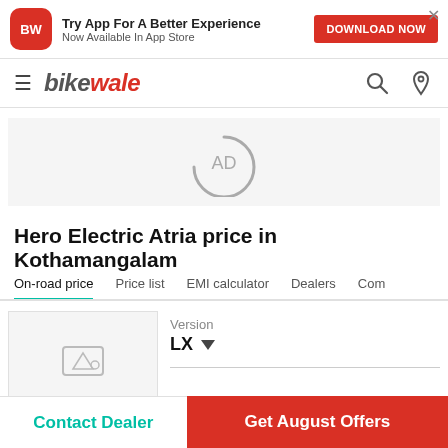[Figure (screenshot): BikeWale app download banner with BW red icon, text 'Try App For A Better Experience / Now Available In App Store' and red 'DOWNLOAD NOW' button]
[Figure (logo): BikeWale logo with hamburger menu icon, search icon, and location pin icon in navigation bar]
[Figure (other): AD placeholder banner in grey background with circular arrow AD indicator]
Hero Electric Atria price in Kothamangalam
On-road price  Price list  EMI calculator  Dealers  Com
[Figure (photo): Product image placeholder box with image icon, Version LX dropdown]
Contact Dealer
Get August Offers